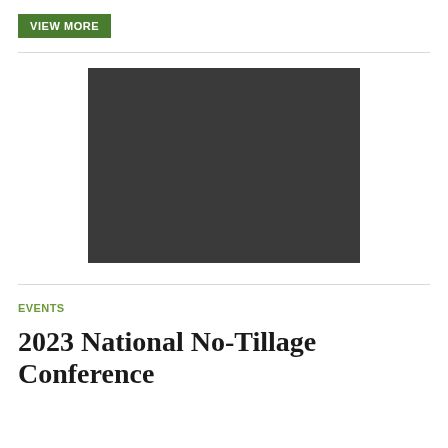VIEW MORE
[Figure (photo): Dark gray rectangular image placeholder, likely a video thumbnail or event photo]
EVENTS
2023 National No-Tillage Conference